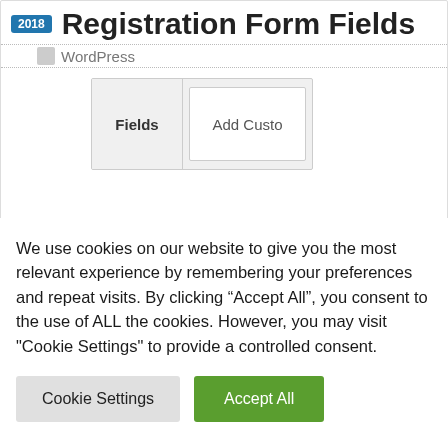2018 Registration Form Fields
WordPress
[Figure (screenshot): Screenshot of WordPress Affiliates Manager admin interface showing 'Fields' and 'Add Custom' tabs]
WordPress Affiliates Manager Registration Form Fields shows you how to set up and add new registration fields to the affiliate registration form. Last Updated: July 23, 2021 Latest News: Updated the documentation. The following tutorial shows you how to add new fields to your registration form. You can choose
We use cookies on our website to give you the most relevant experience by remembering your preferences and repeat visits. By clicking “Accept All”, you consent to the use of ALL the cookies. However, you may visit "Cookie Settings" to provide a controlled consent.
Cookie Settings
Accept All